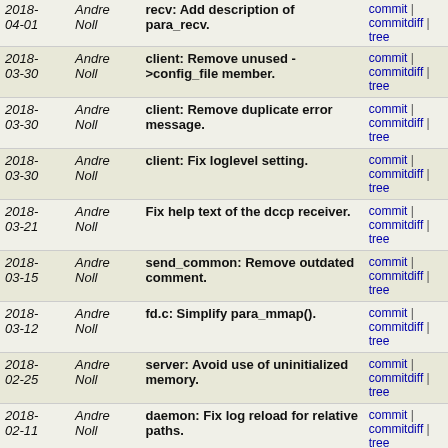| Date | Author | Message | Links |
| --- | --- | --- | --- |
| 2018-04-01 | Andre Noll | recv: Add description of para_recv. | commit | commitdiff | tree |
| 2018-03-30 | Andre Noll | client: Remove unused ->config_file member. | commit | commitdiff | tree |
| 2018-03-30 | Andre Noll | client: Remove duplicate error message. | commit | commitdiff | tree |
| 2018-03-30 | Andre Noll | client: Fix loglevel setting. | commit | commitdiff | tree |
| 2018-03-21 | Andre Noll | Fix help text of the dccp receiver. | commit | commitdiff | tree |
| 2018-03-15 | Andre Noll | send_common: Remove outdated comment. | commit | commitdiff | tree |
| 2018-03-12 | Andre Noll | fd.c: Simplify para_mmap(). | commit | commitdiff | tree |
| 2018-02-25 | Andre Noll | server: Avoid use of uninitialized memory. | commit | commitdiff | tree |
| 2018-02-11 | Andre Noll | daemon: Fix log reload for relative paths. | commit | commitdiff | tree |
| 2018-02-11 | Andre Noll | Improve daemon_open_log_or_die(). | commit | commitdiff | tree |
| 2018-02-11 | Andre Noll | server: Close logfile later on SIGHUP. | commit | commitdiff | tree |
| 2018-02-11 | Andre Noll | server: Simplify afs socket cookie code. | commit | commitdiff | tree |
| 2018-02-11 | Andre Noll | mixer: Remove default moods for sleep. | commit | commitdiff | tree |